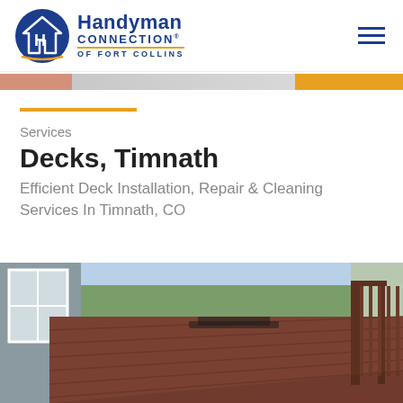[Figure (logo): Handyman Connection of Fort Collins logo with blue circular house icon and text]
Services
Decks, Timnath
Efficient Deck Installation, Repair & Cleaning Services In Timnath, CO
[Figure (photo): Outdoor wooden deck with reddish-brown stain, patio furniture visible, attached to a gray sided house, with wooden railings and green grass in background]